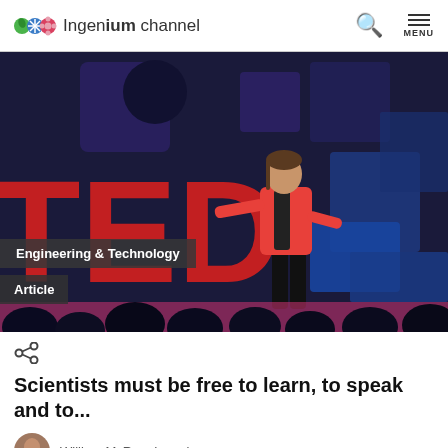Ingenium channel
[Figure (photo): A woman in a red jacket presenting on a TED stage with large red TED letters visible and audience silhouettes in the foreground]
Engineering & Technology
Article
Scientists must be free to learn, to speak and to...
William McRae, Ingenium